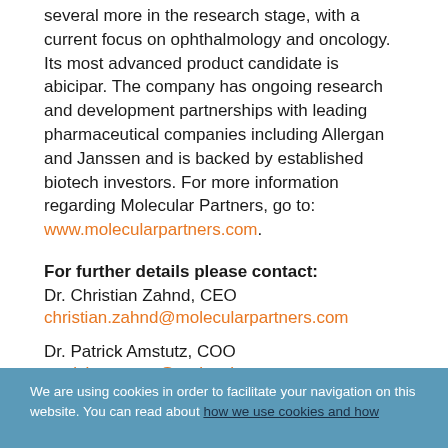several more in the research stage, with a current focus on ophthalmology and oncology. Its most advanced product candidate is abicipar. The company has ongoing research and development partnerships with leading pharmaceutical companies including Allergan and Janssen and is backed by established biotech investors. For more information regarding Molecular Partners, go to: www.molecularpartners.com.
For further details please contact:
Dr. Christian Zahnd, CEO
christian.zahnd@molecularpartners.com
Dr. Patrick Amstutz, COO
patrick.amstutz@molecularpartners.com
Tel: +41 (0) 44 755 77 00
We are using cookies in order to facilitate your navigation on this website. You can read about how we use cookies and how